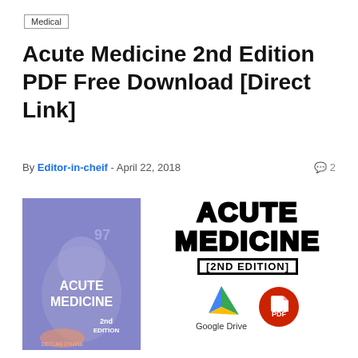Medical
Acute Medicine 2nd Edition PDF Free Download [Direct Link]
By Editor-in-cheif - April 22, 2018 ◉ 2
[Figure (illustration): Book cover of Acute Medicine 2nd Edition with purple overlay showing a patient and medical equipment, text reading ACUTE MEDICINE 2nd Edition by Declan O'Kane]
[Figure (infographic): Download graphic showing ACUTE MEDICINE [2ND EDITION] text in bold block letters with Google Drive and PDF icons below]